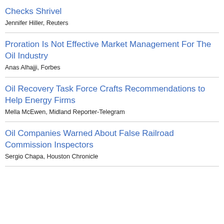Checks Shrivel
Jennifer Hiller, Reuters
Proration Is Not Effective Market Management For The Oil Industry
Anas Alhajji, Forbes
Oil Recovery Task Force Crafts Recommendations to Help Energy Firms
Mella McEwen, Midland Reporter-Telegram
Oil Companies Warned About False Railroad Commission Inspectors
Sergio Chapa, Houston Chronicle